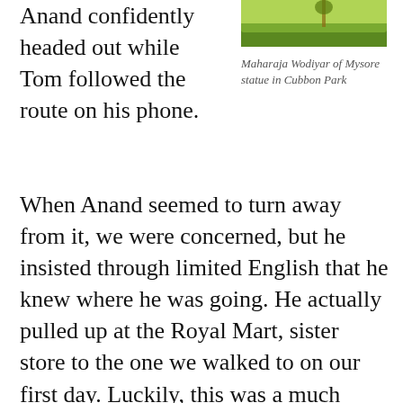Anand confidently headed out while Tom followed the route on his phone.
[Figure (photo): Green hedge or garden area, likely in Cubbon Park, Bangalore]
Maharaja Wodiyar of Mysore statue in Cubbon Park
When Anand seemed to turn away from it, we were concerned, but he insisted through limited English that he knew where he was going. He actually pulled up at the Royal Mart, sister store to the one we walked to on our first day. Luckily, this was a much bigger store and we accomplished most of our list, including everything we needed to make our own chana masala at home that night. Here, rather than oppressive assistance, the clerks at Royal Mart were incredibly helpful. Every time we had a question, someone was nearby to help. What